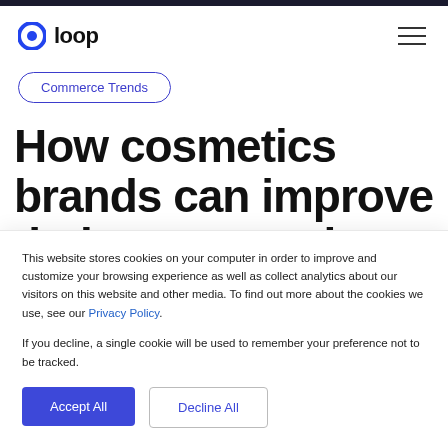loop
Commerce Trends
How cosmetics brands can improve their post-purchase experience
This website stores cookies on your computer in order to improve and customize your browsing experience as well as collect analytics about our visitors on this website and other media. To find out more about the cookies we use, see our Privacy Policy.
If you decline, a single cookie will be used to remember your preference not to be tracked.
Accept All
Decline All